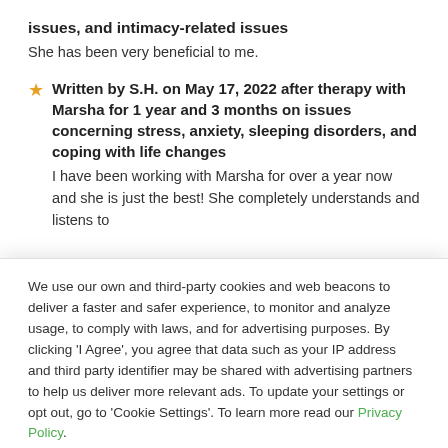issues, and intimacy-related issues
She has been very beneficial to me.
Written by S.H. on May 17, 2022 after therapy with Marsha for 1 year and 3 months on issues concerning stress, anxiety, sleeping disorders, and coping with life changes
I have been working with Marsha for over a year now and she is just the best! She completely understands and listens to
We use our own and third-party cookies and web beacons to deliver a faster and safer experience, to monitor and analyze usage, to comply with laws, and for advertising purposes. By clicking 'I Agree', you agree that data such as your IP address and third party identifier may be shared with advertising partners to help us deliver more relevant ads. To update your settings or opt out, go to 'Cookie Settings'. To learn more read our Privacy Policy.
Cookie Settings | I Agree